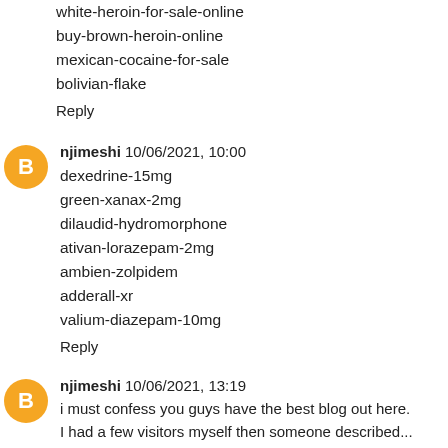white-heroin-for-sale-online
buy-brown-heroin-online
mexican-cocaine-for-sale
bolivian-flake
Reply
njimeshi 10/06/2021, 10:00
dexedrine-15mg
green-xanax-2mg
dilaudid-hydromorphone
ativan-lorazepam-2mg
ambien-zolpidem
adderall-xr
valium-diazepam-10mg
Reply
njimeshi 10/06/2021, 13:19
i must confess you guys have the best blog out here. I had a few visitors myself then someone described...